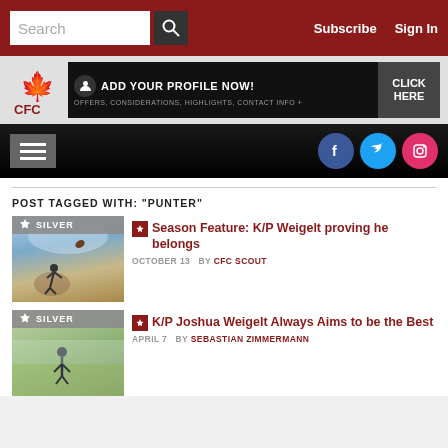Search | Subscribe | Sign In
[Figure (logo): CFC (Canadian Football Camp) logo with maple leaf]
[Figure (infographic): ADD YOUR PROFILE NOW! CLICK HERE - OFFERS, CONSIDERATIONS, HIGHLIGHTS, CONTACT INFO +]
[Figure (infographic): Navigation bar with hamburger menu and Facebook, Twitter, Instagram social icons]
POST TAGGED WITH: "PUNTER"
[Figure (photo): Silver badge thumbnail - football kicker silhouette against sky]
Season Feature: K/P Weigelt proving he belongs
OCTOBER 13  BY CFC SCOUT
[Figure (photo): Silver badge thumbnail - football player on field]
K/P Joshua Weigelt Always Aims to be the Best
APRIL 7  BY SEBASTIAN ZIMMERMANN